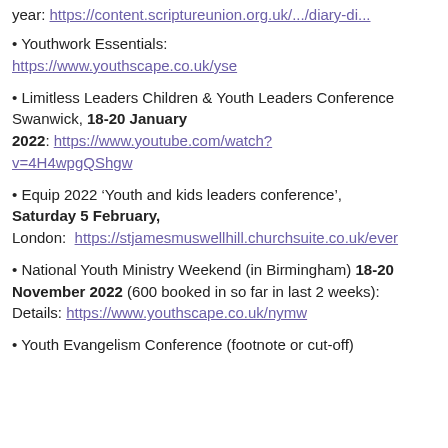year: https://content.scriptureunion.org.uk/.../diary-di...
Youthwork Essentials: https://www.youthscape.co.uk/yse
Limitless Leaders Children & Youth Leaders Conference Swanwick, 18-20 January 2022: https://www.youtube.com/watch?v=4H4wpgQShgw
Equip 2022 'Youth and kids leaders conference', Saturday 5 February, London: https://stjamesmuswellhill.churchsuite.co.uk/ever
National Youth Ministry Weekend (in Birmingham) 18-20 November 2022 (600 booked in so far in last 2 weeks): Details: https://www.youthscape.co.uk/nymw
Youth Evangelism Conference (footnote or cut-off)